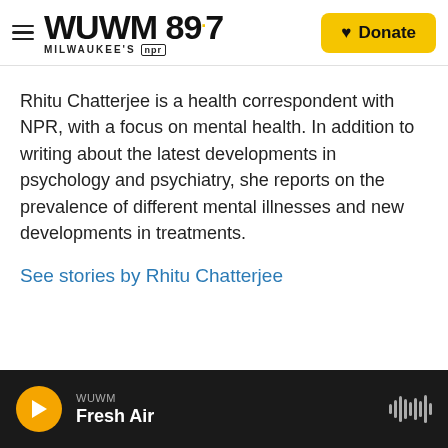WUWM 89.7 MILWAUKEE'S NPR — Donate
Rhitu Chatterjee is a health correspondent with NPR, with a focus on mental health. In addition to writing about the latest developments in psychology and psychiatry, she reports on the prevalence of different mental illnesses and new developments in treatments.
See stories by Rhitu Chatterjee
WUWM Fresh Air